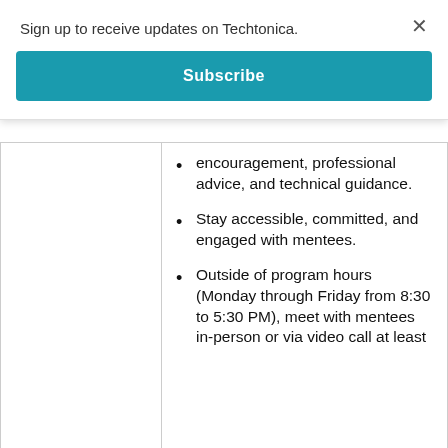Sign up to receive updates on Techtonica.
×
Subscribe
encouragement, professional advice, and technical guidance.
Stay accessible, committed, and engaged with mentees.
Outside of program hours (Monday through Friday from 8:30 to 5:30 PM), meet with mentees in-person or via video call at least